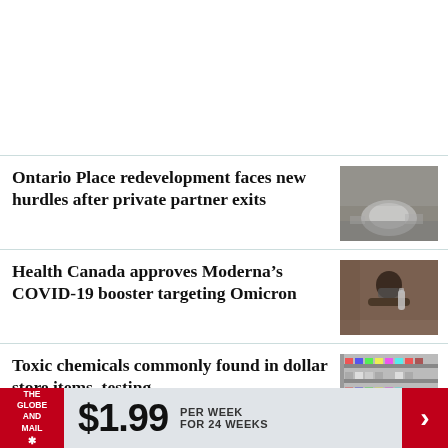Ontario Place redevelopment faces new hurdles after private partner exits
[Figure (photo): Aerial or overhead view of Ontario Place construction/redevelopment site showing the dome structure]
Health Canada approves Moderna’s COVID-19 booster targeting Omicron
[Figure (photo): Person in mask holding a vaccine vial]
Toxic chemicals commonly found in dollar store items, testing
[Figure (photo): Interior of a dollar store with shelves of products]
THE GLOBE AND MAIL ★  $1.99  PER WEEK FOR 24 WEEKS